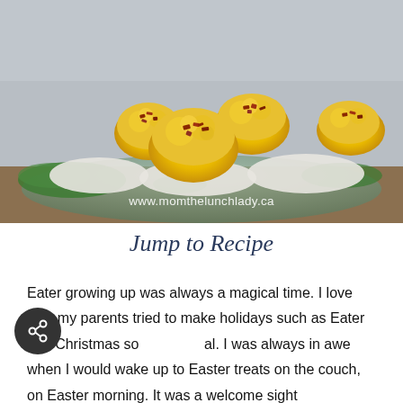[Figure (photo): A plate of deviled eggs topped with crumbled bacon pieces, garnished with green lettuce, served on a glass platter. Watermark reads: www.momthelunchlady.ca]
Jump to Recipe
Eater growing up was always a magical time. I love how my parents tried to make holidays such as Eater and Christmas so al. I was always in awe when I would wake up to Easter treats on the couch, on Easter morning. It was a welcome sight